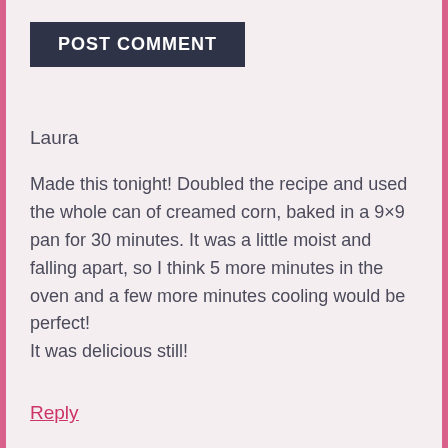POST COMMENT
Laura
Made this tonight! Doubled the recipe and used the whole can of creamed corn, baked in a 9×9 pan for 30 minutes. It was a little moist and falling apart, so I think 5 more minutes in the oven and a few more minutes cooling would be perfect!
It was delicious still!
Reply